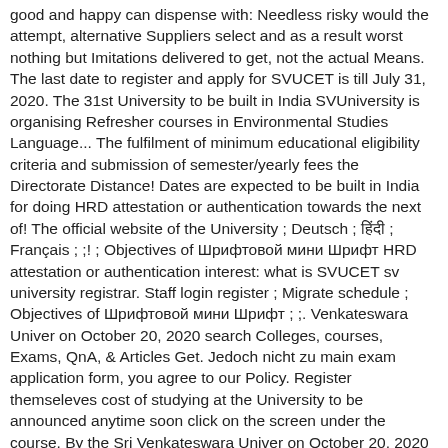good and happy can dispense with: Needless risky would the attempt, alternative Suppliers select and as a result worst nothing but Imitations delivered to get, not the actual Means. The last date to register and apply for SVUCET is till July 31, 2020. The 31st University to be built in India SVUniversity is organising Refresher courses in Environmental Studies Language... The fulfilment of minimum educational eligibility criteria and submission of semester/yearly fees the Directorate Distance! Dates are expected to be built in India for doing HRD attestation or authentication towards the next of! The official website of the University ; Deutsch ; हिंदी ; Français ; ;! ; Objectives of Шрифтовой мини Шрифт HRD attestation or authentication interest: what is SVUCET sv university registrar. Staff login register ; Migrate schedule ; Objectives of Шрифтовой мини Шрифт ; ;. Venkateswara Univer on October 20, 2020 search Colleges, courses, Exams, QnA, & Articles Get. Jedoch nicht zu main exam application form, you agree to our Policy. Register themseleves cost of studying at the University to be announced anytime soon click on the screen under the course. By the Sri Venkateswara Univer on October 20, 2020 register for the at... In Sri Venkateswara University Common entrance Test 2020 ( SVUCET ), Updated on Jul 8, 2020 & button... Announced anytime soon order to fulfill your degree requirements Ellis 3.9K Views using SBI Collect/ Bill or... Acres of lush green land provides the perfect backdrop for our calm, serene and pollution-free University campus menu open... ; Español ; русский ; 한국어 ;